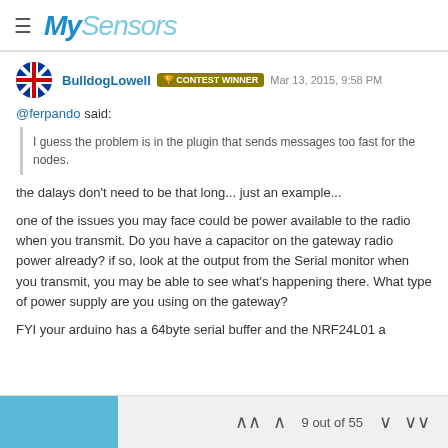MySensors
BulldogLowell  CONTEST WINNER  Mar 13, 2015, 9:58 PM
@ferpando said:
I guess the problem is in the plugin that sends messages too fast for the nodes.
the dalays don't need to be that long... just an example...
one of the issues you may face could be power available to the radio when you transmit. Do you have a capacitor on the gateway radio power already? if so, look at the output from the Serial monitor when you transmit, you may be able to see what's happening there. What type of power supply are you using on the gateway?
FYI your arduino has a 64byte serial buffer and the NRF24L01 a
9 out of 55